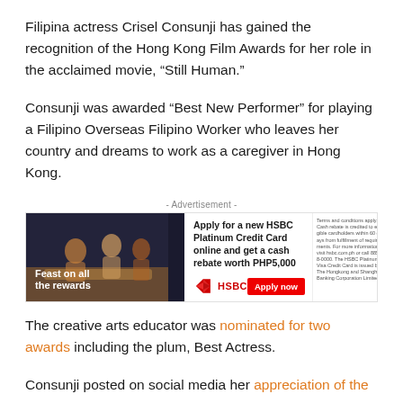Filipina actress Crisel Consunji has gained the recognition of the Hong Kong Film Awards for her role in the acclaimed movie, “Still Human.”
Consunji was awarded “Best New Performer” for playing a Filipino Overseas Filipino Worker who leaves her country and dreams to work as a caregiver in Hong Kong.
[Figure (other): HSBC Platinum Credit Card advertisement banner with image of people dining on the left with text 'Feast on all the rewards', and HSBC branding with 'Apply for a new HSBC Platinum Credit Card online and get a cash rebate worth PHP5,000' and an 'Apply now' button.]
The creative arts educator was nominated for two awards including the plum, Best Actress.
Consunji posted on social media her appreciation of the